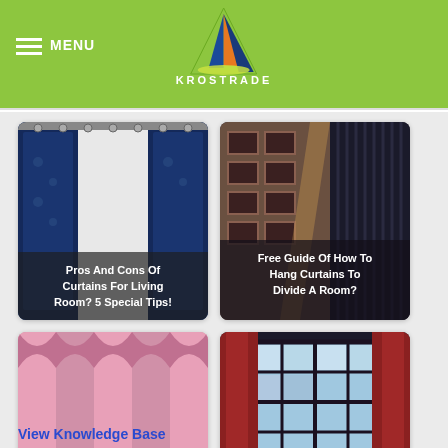MENU | KROSTRADE
[Figure (photo): Photo of curtains for living room with blue and white patterned curtains on a rod]
Pros And Cons Of Curtains For Living Room? 5 Special Tips!
[Figure (photo): Photo of vertical blinds dividing a room with framed pictures on the wall]
Free Guide Of How To Hang Curtains To Divide A Room?
[Figure (photo): Photo of pink sheer curtains used as a room divider]
How to Use Curtains as A Room Divider - Free Guide!
[Figure (photo): Photo of a dark room with a window and red curtains on sides]
How To Darken A Room Without Curtains In 5 Free Ways?
View Knowledge Base